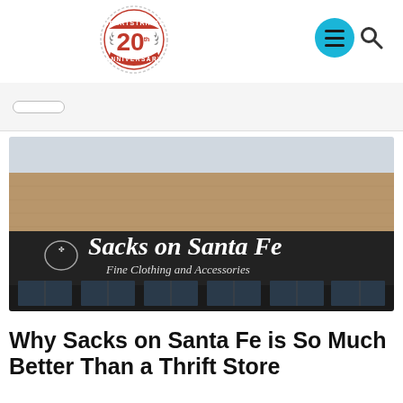Heartstrings 20th Anniversary Logo
[Figure (photo): Exterior storefront of Sacks on Santa Fe Fine Clothing and Accessories — a dark-facade building with tan upper facade and the store name in large white serif font with a logo to the left]
Why Sacks on Santa Fe is So Much Better Than a Thrift Store